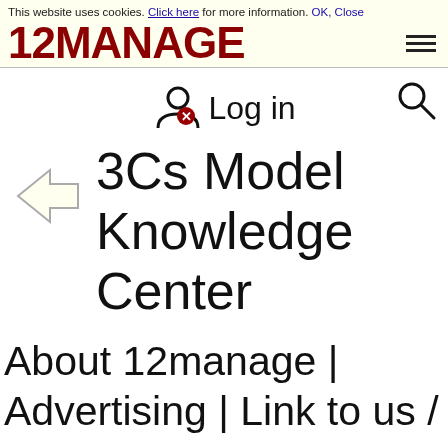This website uses cookies. Click here for more information. OK, Close
[Figure (logo): 12MANAGE logo in dark red bold text with hamburger menu icon]
Log in
3Cs Model Knowledge Center
About 12manage | Advertising | Link to us /